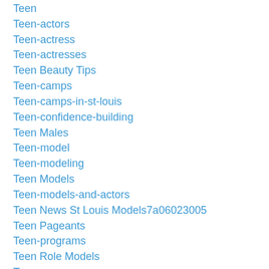Teen
Teen-actors
Teen-actress
Teen-actresses
Teen Beauty Tips
Teen-camps
Teen-camps-in-st-louis
Teen-confidence-building
Teen Males
Teen-model
Teen-modeling
Teen Models
Teen-models-and-actors
Teen News St Louis Models7a06023005
Teen Pageants
Teen-programs
Teen Role Models
Teens
Teen Summer Program
Tess Mandoli
Thankful